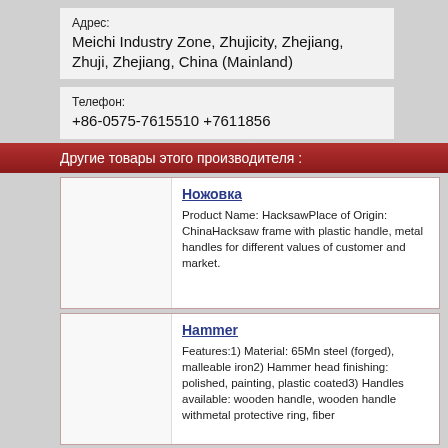Адрес:
Meichi Industry Zone, Zhujicity, Zhejiang, Zhuji, Zhejiang, China (Mainland)
Телефон:
+86-0575-7615510 +7611856
Другие товары этого производителя :
| Ножовка | Product Name: HacksawPlace of Origin: ChinaHacksaw frame with plastic handle, metal handles for different values of customer and market. |
| Hammer | Features:1) Material: 65Mn steel (forged), malleable iron2) Hammer head finishing: polished, painting, plastic coated3) Handles available: wooden handle, wooden handle withmetal protective ring, fiber |
| Перфораторы | We are a comprehensive import&export trading company. We can supply the hammers of high |